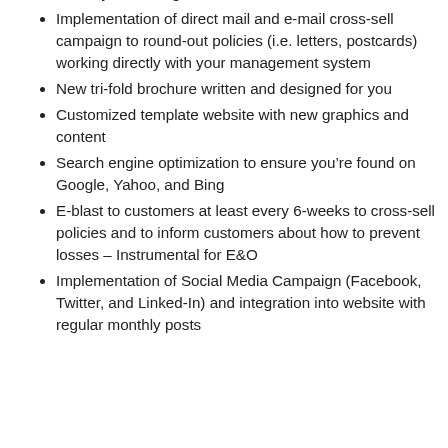monthly marketing activities
Implementation of direct mail and e-mail cross-sell campaign to round-out policies (i.e. letters, postcards) working directly with your management system
New tri-fold brochure written and designed for you
Customized template website with new graphics and content
Search engine optimization to ensure you’re found on Google, Yahoo, and Bing
E-blast to customers at least every 6-weeks to cross-sell policies and to inform customers about how to prevent losses – Instrumental for E&O
Implementation of Social Media Campaign (Facebook, Twitter, and Linked-In) and integration into website with regular monthly posts